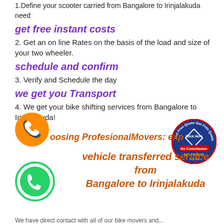1.Define your scooter carried from Bangalore to Irinjalakuda need
get free instant costs
2. Get an on line Rates on the basis of the load and size of your two wheeler.
schedule and confirm
3. Verify and Schedule the day
we get you Transport
4. We get your bike shifting services from Bangalore to Irinjalakuda!
[Figure (illustration): Orange phone call icon circle]
[Figure (illustration): WhatsApp green phone icon circle]
[Figure (illustration): Get Free Quote - No Commission - NO FROUD badge circular stamp]
oosing ProfesionalMovers: exp vehicle transferred service from Bangalore to Irinjalakuda
We have direct contact with all of our bike movers and...